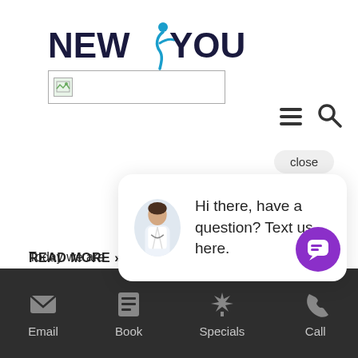[Figure (logo): NEW YOU logo with stylized blue figure between NEW and YOU text]
[Figure (photo): Image placeholder with broken image icon]
[Figure (screenshot): Navigation hamburger menu and search icons in top right]
[Figure (screenshot): Close button pill shape]
[Figure (screenshot): Chat popup with avatar of doctor and text: Hi there, have a question? Text us here.]
Today we are serum. The Ju not only softens expression lines, but completely brightensthe area with its active caffeine com Say goodbye to
READ MORE »
[Figure (screenshot): Purple chat bubble button with message icon]
Email   Book   Specials   Call